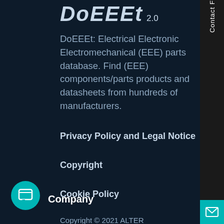DoEEEt 2.0
DoEEEt: Electrical Electronic Electromechanical (EEE) parts database. Find (EEE) components/parts products and datasheets from hundreds of manufacturers.
Privacy Policy and Legal Notice
Copyright
Cookie Policy
Copyright © 2021 ALTER TECHNOLOGY TÜV NORD S.A.U
[Figure (logo): Chat bubble icon - circular teal button with message icon]
Company